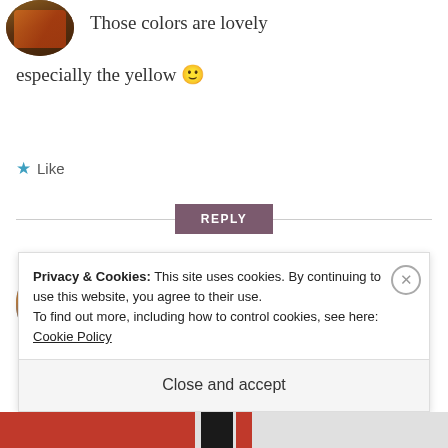[Figure (photo): Circular avatar photo of a person in a restaurant or bar setting]
Those colors are lovely especially the yellow 🙂
★ Like
REPLY
[Figure (photo): Circular avatar photo of a young woman with glasses holding a beer mug]
itsmekatielou
MARCH 17, 2016 AT 6:11 AM
Privacy & Cookies: This site uses cookies. By continuing to use this website, you agree to their use.
To find out more, including how to control cookies, see here: Cookie Policy
Close and accept